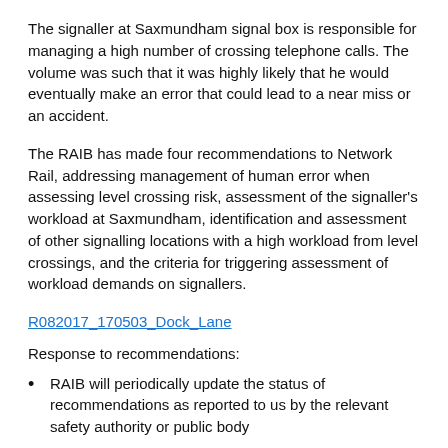The signaller at Saxmundham signal box is responsible for managing a high number of crossing telephone calls. The volume was such that it was highly likely that he would eventually make an error that could lead to a near miss or an accident.
The RAIB has made four recommendations to Network Rail, addressing management of human error when assessing level crossing risk, assessment of the signaller's workload at Saxmundham, identification and assessment of other signalling locations with a high workload from level crossings, and the criteria for triggering assessment of workload demands on signallers.
R082017_170503_Dock_Lane
Response to recommendations:
RAIB will periodically update the status of recommendations as reported to us by the relevant safety authority or public body
RAIB may add comment, particularly if we have concerns regarding these responses.